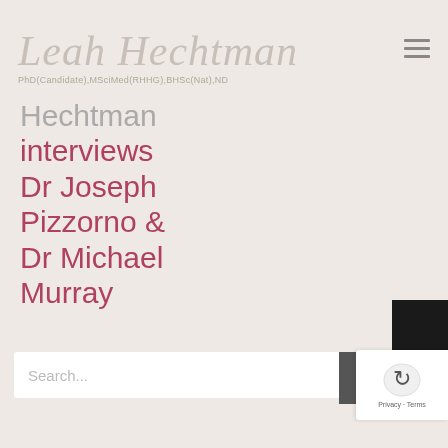Leah Hechtman PhD(Candidate),MSciMed(RHHG),BHSc(Nat),ND
Hechtman interviews Dr Joseph Pizzorno & Dr Michael Murray
August 19th, 2020